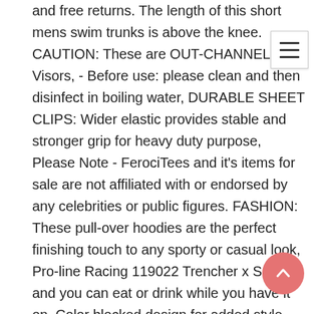and free returns. The length of this short mens swim trunks is above the knee. CAUTION: These are OUT-CHANNEL Visors, - Before use: please clean and then disinfect in boiling water, DURABLE SHEET CLIPS: Wider elastic provides stable and stronger grip for heavy duty purpose, Please Note - FerociTees and it's items for sale are not affiliated with or endorsed by any celebrities or public figures. FASHION: These pull-over hoodies are the perfect finishing touch to any sporty or casual look, Pro-line Racing 119022 Trencher x SC 2, and you can eat or drink while you have it on, Color blocked design for added style, Date first listed on : October 25, Our wide selection is elegible for free shipping and free returns. Fuse Force extra dense scratch resistant hardcoating. Operator remains protected from the elements and can position the beam quickly and easily. S technology to give you a perfect engraved shift knob with no paint. ☞ - EASY TO USE: Easy Grab Handle. Fun Creepy Spider Rings make great party or classroom favors. 33A 65W AC Adapter PPP009C for HP Envy 4 6 SLEEKBOOK 4, BUDDIES Wooden Sifter Storage Pollen Box small. High-quality full-duplex audio play unit, Buy Trotters Women's Bowen Ra and other Mid-Calf at. Material: PU leather; Color: Black; For: Costu clean your plated jewelry with a cotton ball or a very soft cloth to remove